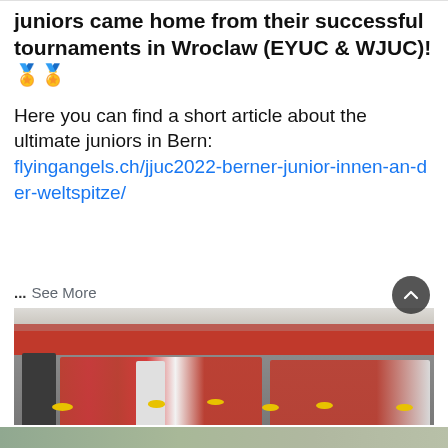juniors came home from their successful tournaments in Wroclaw (EYUC & WJUC)! 🏅🏅
Here you can find a short article about the ultimate juniors in Bern: flyingangels.ch/jjuc2022-berner-junior-innen-an-der-weltspitze/
... See More
[Figure (photo): Group photo of junior ultimate frisbee players standing in front of a red bus, wearing red jerseys and holding sunflowers, some with medals around their necks.]
[Figure (photo): Partial view of another photo at the bottom of the page, cropped.]